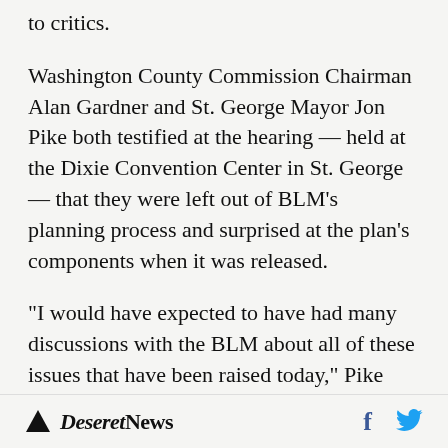to critics.
Washington County Commission Chairman Alan Gardner and St. George Mayor Jon Pike both testified at the hearing — held at the Dixie Convention Center in St. George — that they were left out of BLM's planning process and surprised at the plan's components when it was released.
"I would have expected to have had many discussions with the BLM about all of these issues that have been raised today," Pike said, particularly since they concern water rights. "I
Deseret News